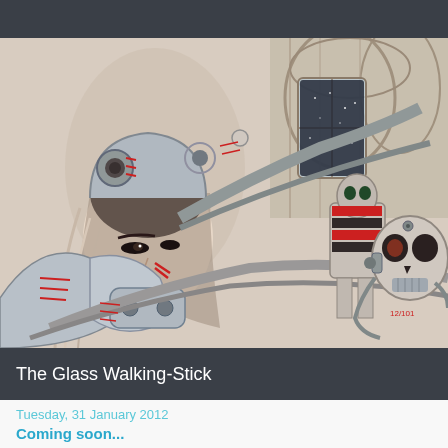[Figure (illustration): Detailed sci-fi / cyberpunk illustration in pencil and colored ink. Features a woman in a futuristic helmet and armored suit on the left, with robotic/mechanical figures in the background and a skull-masked figure on the right. The setting appears to be a futuristic interior space with arched architecture visible in the upper right. Red, grey, and muted tones dominate the artwork.]
The Glass Walking-Stick
Tuesday, 31 January 2012
Coming soon...